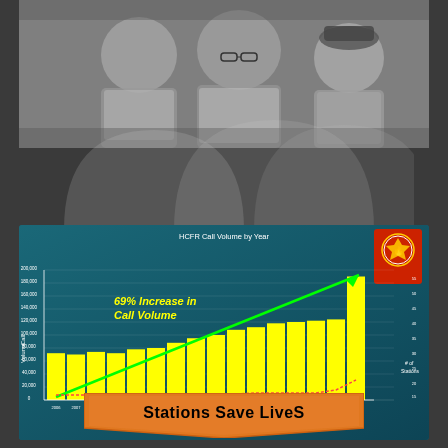[Figure (photo): Black and white photograph of firefighters/personnel standing together, torsos visible]
[Figure (bar-chart): Bar chart showing HCFR Call Volume by Year with 69% Increase in Call Volume annotation, yellow bars on teal background, green trend arrow, red line for number of stations]
Stations Save LiveS